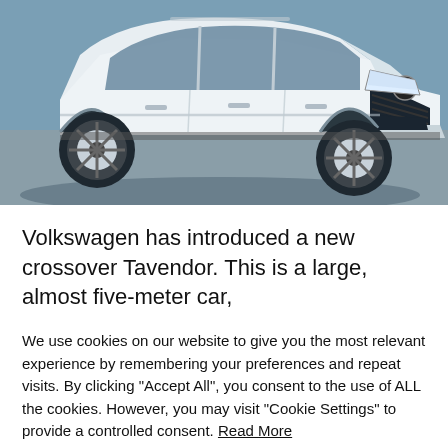[Figure (photo): A white Volkswagen SUV crossover (Tavendor) photographed from the front-left angle, parked on a concrete surface with a grey/blue background.]
Volkswagen has introduced a new crossover Tavendor. This is a large, almost five-meter car,
We use cookies on our website to give you the most relevant experience by remembering your preferences and repeat visits. By clicking "Accept All", you consent to the use of ALL the cookies. However, you may visit "Cookie Settings" to provide a controlled consent. Read More
Cookie Settings | Accept All